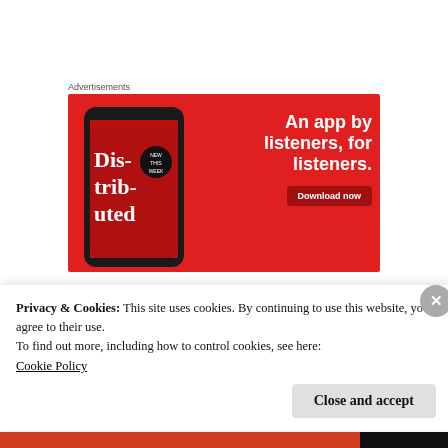Advertisements
[Figure (other): Red advertisement banner for a podcast/audio app. Shows a smartphone with 'Distributed' podcast cover on screen. Text reads: 'An app by listeners, for listeners.' with a 'Download now' button.]
Privacy & Cookies: This site uses cookies. By continuing to use this website, you agree to their use.
To find out more, including how to control cookies, see here:
Cookie Policy
Close and accept